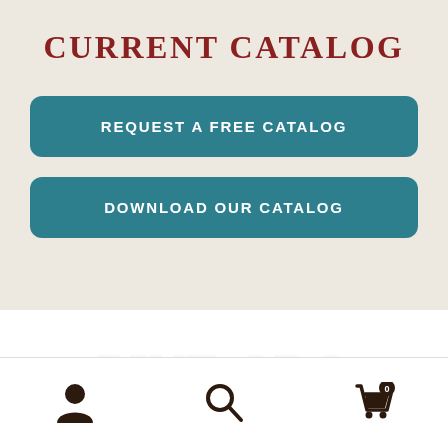Current Catalog
REQUEST A FREE CATALOG
DOWNLOAD OUR CATALOG
[Figure (illustration): Watermark/background image of catalog cover text in light gray]
[Figure (illustration): Bottom navigation bar with user account icon, search icon, and shopping cart icon with badge showing 0]